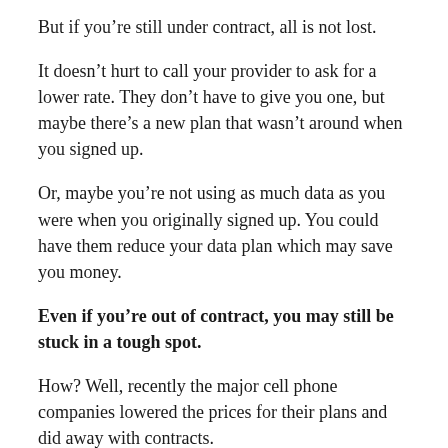But if you're still under contract, all is not lost.
It doesn't hurt to call your provider to ask for a lower rate. They don't have to give you one, but maybe there's a new plan that wasn't around when you signed up.
Or, maybe you're not using as much data as you were when you originally signed up. You could have them reduce your data plan which may save you money.
Even if you're out of contract, you may still be stuck in a tough spot.
How? Well, recently the major cell phone companies lowered the prices for their plans and did away with contracts.